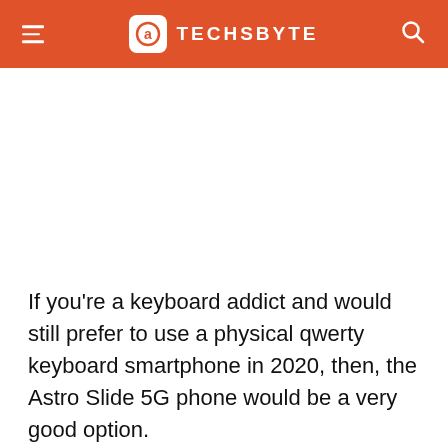TECHSBYTE
If you're a keyboard addict and would still prefer to use a physical qwerty keyboard smartphone in 2020, then, the Astro Slide 5G phone would be a very good option.